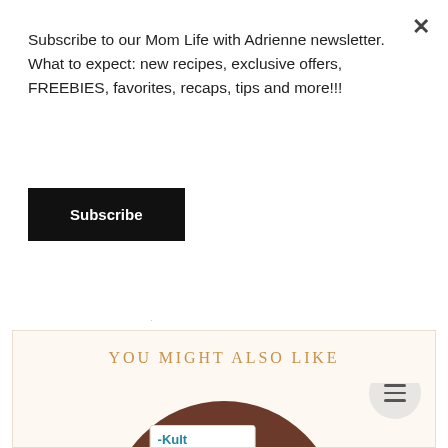Subscribe to our Mom Life with Adrienne newsletter. What to expect: new recipes, exclusive offers, FREEBIES, favorites, recaps, tips and more!!!
Subscribe
×
LABELS: DATE NIGHT, REVIEW
YOU MIGHT ALSO LIKE
[Figure (photo): Product box labeled '-Kult' probiotic supplement on a dark brown wooden circular board, with a blister pill pack beside it]